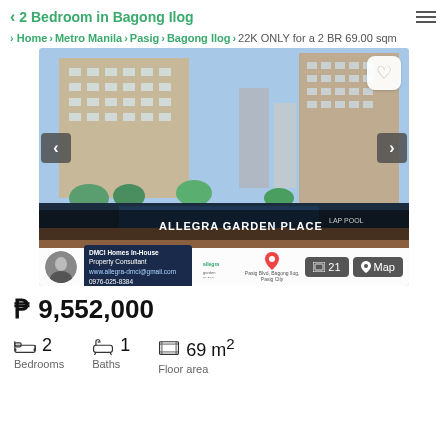2 Bedroom in Bagong Ilog
Home > Metro Manila > Pasig > Bagong Ilog > 22K ONLY for a 2 BR 69.00 sqm
[Figure (photo): Exterior rendering of Allegra Garden Place condominium with lap pool and landscaping. Agent photo and branding overlay at bottom. Buttons for 21 photos and Map view.]
₱ 9,552,000
2 Bedrooms
1 Baths
69 m² Floor area